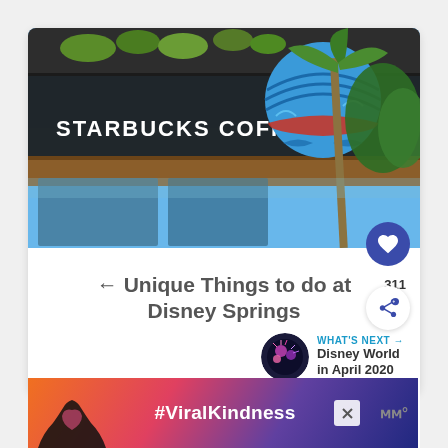[Figure (photo): Exterior photo of a Starbucks Coffee location at Disney Springs with a green roof, wooden facade, the Starbucks Coffee sign, and a large blue striped balloon/sphere visible in the background with palm trees and blue sky.]
← Unique Things to do at Disney Springs
WHAT'S NEXT → Disney World in April 2020
[Figure (photo): Advertisement banner showing hands forming a heart shape silhouette against a colorful sunset sky, with text #ViralKindness and a brand logo.]